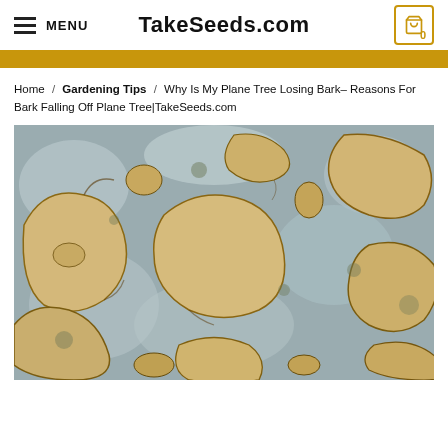MENU   TakeSeeds.com   0
Home / Gardening Tips / Why Is My Plane Tree Losing Bark– Reasons For Bark Falling Off Plane Tree|TakeSeeds.com
[Figure (photo): Close-up photograph of a plane tree trunk showing characteristic exfoliating bark pattern with tan/cream colored patches peeling away from a grey-blue background bark, revealing the tree's distinctive camouflage-like texture.]